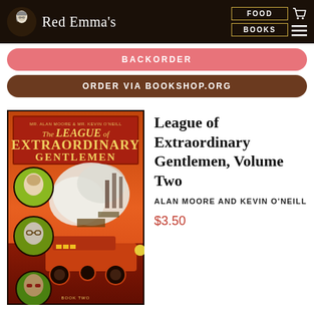Red Emma's — FOOD | BOOKS
BACKORDER
ORDER VIA BOOKSHOP.ORG
[Figure (photo): Book cover of The League of Extraordinary Gentlemen Volume Two by Alan Moore and Kevin O'Neill, featuring orange/red illustrated artwork with characters and a steam locomotive]
League of Extraordinary Gentlemen, Volume Two
ALAN MOORE AND KEVIN O'NEILL
$3.50